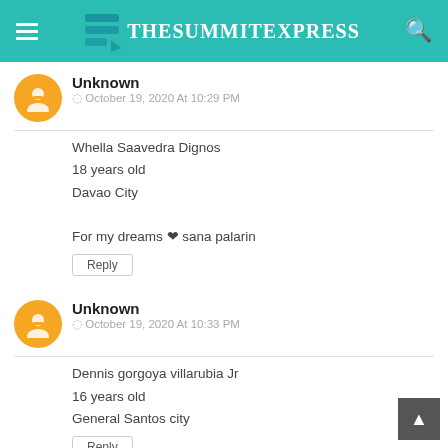TheSummitExpress
Unknown
© October 19, 2020 At 10:29 PM
Whella Saavedra Dignos
18 years old
Davao City

For my dreams ❤ sana palarin
Reply
Unknown
© October 19, 2020 At 10:33 PM
Dennis gorgoya villarubia Jr
16 years old
General Santos city
Reply
Unknown
© October 19, 2020 At 10:34 PM